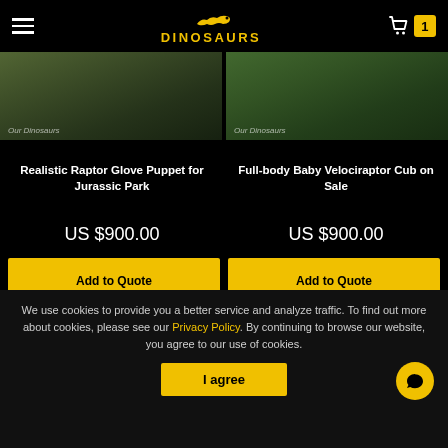DINOSAURS — navigation header with hamburger menu and cart
[Figure (photo): Two product photos side by side: left shows a realistic raptor glove puppet, right shows a full-body baby velociraptor cub costume]
Realistic Raptor Glove Puppet for Jurassic Park
Full-body Baby Velociraptor Cub on Sale
US $900.00
US $900.00
Add to Quote
Add to Quote
We use cookies to provide you a better service and analyze traffic. To find out more about cookies, please see our Privacy Policy. By continuing to browse our website, you agree to our use of cookies.
I agree